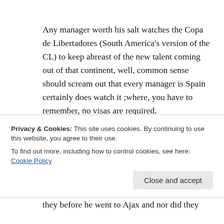Any manager worth his salt watches the Copa de Libertadores (South America's version of the CL) to keep abreast of the new talent coming out of that continent, well, common sense should scream out that every manager is Spain certainly does watch it ;where, you have to remember, no visas are required.
My point is that Suarez was a star long before he moved to Ajax and Real would have known more about him than any club in this country ever will
Privacy & Cookies: This site uses cookies. By continuing to use this website, you agree to their use.
To find out more, including how to control cookies, see here: Cookie Policy
they before he went to Ajax and nor did they